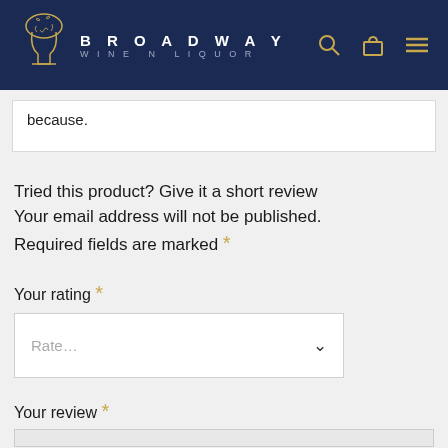BROADWAY WINE N LIQUOR
because.
Tried this product? Give it a short review Your email address will not be published. Required fields are marked *
Your rating *
Rate...
Your review *